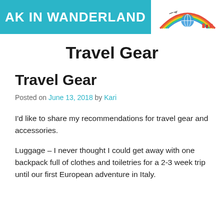AK IN WANDERLAND
Travel Gear
Travel Gear
Posted on June 13, 2018 by Kari
I'd like to share my recommendations for travel gear and accessories.
Luggage – I never thought I could get away with one backpack full of clothes and toiletries for a 2-3 week trip until our first European adventure in Italy.